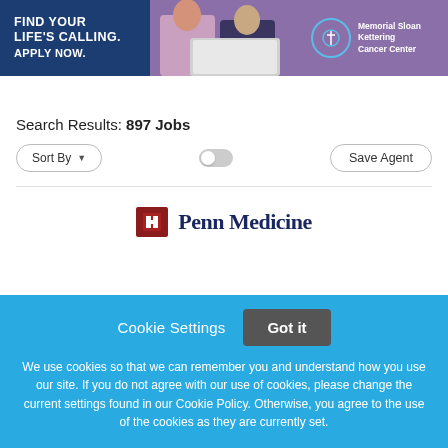[Figure (screenshot): Memorial Sloan Kettering Cancer Center banner advertisement with blue background. Text reads 'FIND YOUR LIFE'S CALLING. APPLY NOW.' with a photo of two people at a laptop and the MSK logo/text on the right.]
Search Results: 897 Jobs
[Figure (screenshot): Sort By dropdown button and toggle control and Save Agent button in a controls row.]
[Figure (logo): Penn Medicine logo partially visible at bottom of search results area.]
Cookie Settings
Got it
We use cookies so that we can remember you and understand how you use our site. If you do not agree with our use of cookies, please change the current settings found in our Cookie Policy. Otherwise, you agree to the use of the cookies as they are currently set.